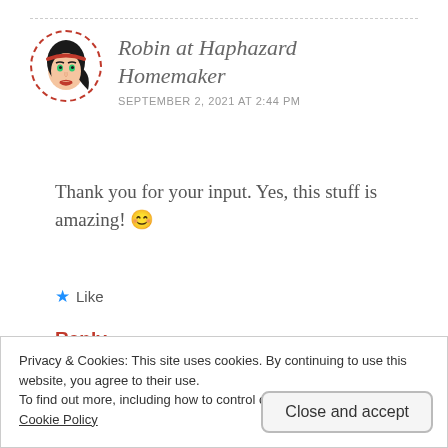[Figure (illustration): Circular avatar with dashed red border showing an illustrated woman with black hair and red headband]
Robin at Haphazard Homemaker
SEPTEMBER 2, 2021 AT 2:44 PM
Thank you for your input. Yes, this stuff is amazing! 😊
★ Like
Reply
Privacy & Cookies: This site uses cookies. By continuing to use this website, you agree to their use.
To find out more, including how to control cookies, see here:
Cookie Policy
Close and accept